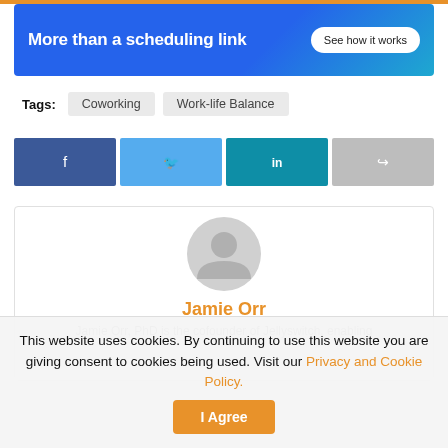[Figure (screenshot): Blue banner advertisement: 'More than a scheduling link' with 'See how it works' button]
Tags: Coworking  Work-life Balance
[Figure (infographic): Social share buttons: Facebook, Twitter, LinkedIn, Share]
[Figure (illustration): Author card with avatar icon, name Jamie Orr in orange, and partial bio text]
Jamie Orr
Jamie Orr, PhD is the cofounder of Jellyswitch, enabling
This website uses cookies. By continuing to use this website you are giving consent to cookies being used. Visit our Privacy and Cookie Policy. I Agree